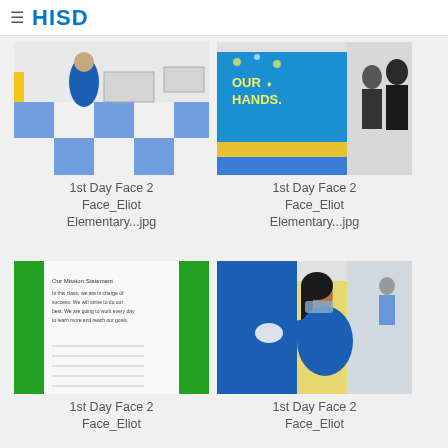HISD
[Figure (photo): School staff member in blue shirt wearing mask, cleaning a classroom with blue and white checkered floor tiles and desks]
1st Day Face 2 Face_Eliot Elementary...jpg
[Figure (photo): School hallway with colorful bulletin board reading 'OUR HANDS' on blue background, two people standing in hallway]
1st Day Face 2 Face_Eliot Elementary...jpg
[Figure (photo): Close up of a blue and green door frame with a paper mission statement posted on the wall]
1st Day Face 2 Face_Eliot Elementary...jpg
[Figure (photo): School staff member in blue shirt wearing mask, wiping down a blue locker or door with a white cloth]
1st Day Face 2 Face_Eliot Elementary...jpg